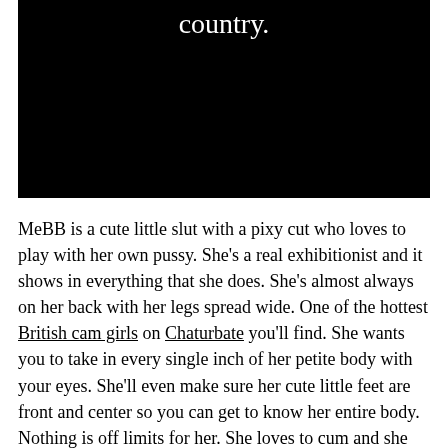[Figure (photo): Black image area with white text 'country.' visible at the top]
MeBB is a cute little slut with a pixy cut who loves to play with her own pussy. She's a real exhibitionist and it shows in everything that she does. She's almost always on her back with her legs spread wide. One of the hottest British cam girls on Chaturbate you'll find. She wants you to take in every single inch of her petite body with your eyes. She'll even make sure her cute little feet are front and center so you can get to know her entire body. Nothing is off limits for her. She loves to cum and she loves to show off while she does it. This very